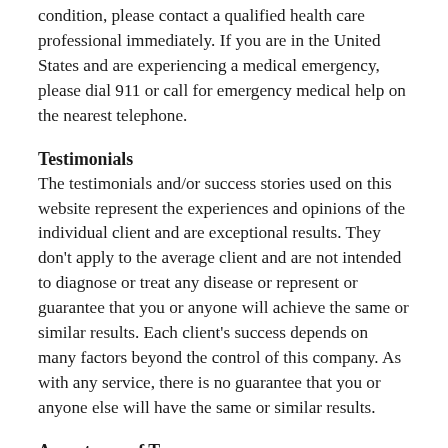condition, please contact a qualified health care professional immediately. If you are in the United States and are experiencing a medical emergency, please dial 911 or call for emergency medical help on the nearest telephone.
Testimonials
The testimonials and/or success stories used on this website represent the experiences and opinions of the individual client and are exceptional results. They don't apply to the average client and are not intended to diagnose or treat any disease or represent or guarantee that you or anyone will achieve the same or similar results. Each client's success depends on many factors beyond the control of this company. As with any service, there is no guarantee that you or anyone else will have the same or similar results.
Acceptance of Terms